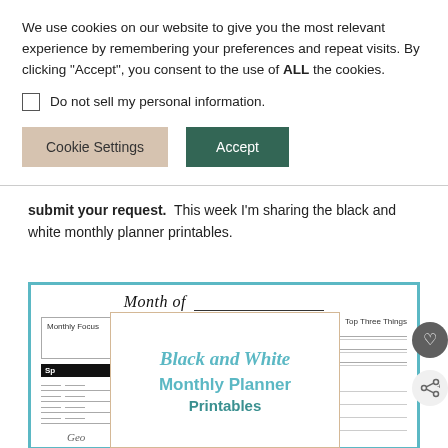We use cookies on our website to give you the most relevant experience by remembering your preferences and repeat visits. By clicking “Accept”, you consent to the use of ALL the cookies.
Do not sell my personal information.
Cookie Settings
Accept
submit your request.  This week I'm sharing the black and white monthly planner printables.
[Figure (illustration): A monthly planner printable preview showing 'Month of ___' header, Monthly Focus box, Top Three Things section, Spending/Tasks columns, with an overlay card reading 'Black and White Monthly Planner Printables' in teal cursive and bold text. Social share and heart buttons visible on the right side.]